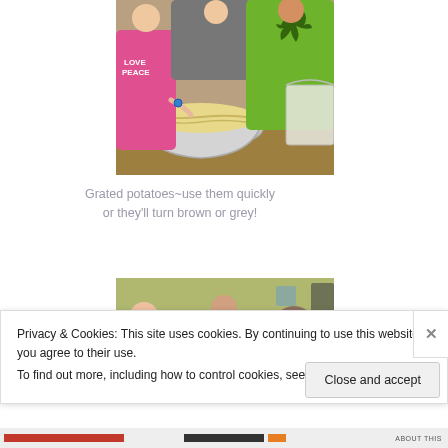[Figure (photo): Children grating potatoes into a large metal mixing bowl on a wooden table, with a bag of ingredients visible on the right. Children wearing colorful shirts.]
Grated potatoes~use them quickly or they'll turn brown or grey!
[Figure (photo): Children sitting around tables in a classroom setting, working on an activity.]
Privacy & Cookies: This site uses cookies. By continuing to use this website, you agree to their use.
To find out more, including how to control cookies, see here: Cookie Policy
Close and accept